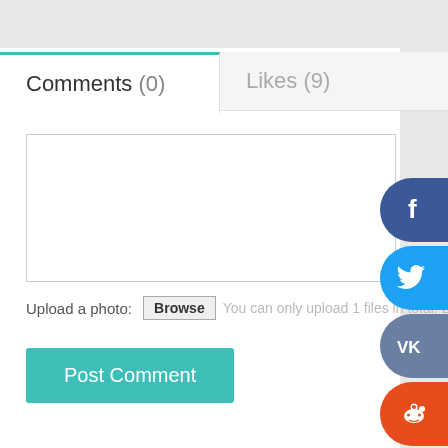Comments (0)
Likes (9)
Upload a photo: Browse You can only upload 1 files in total. E
Post Comment
VOTING   0 votes
[Figure (other): Social share buttons: Facebook (f), Twitter bird, VK, Reddit alien, LinkedIn (in)]